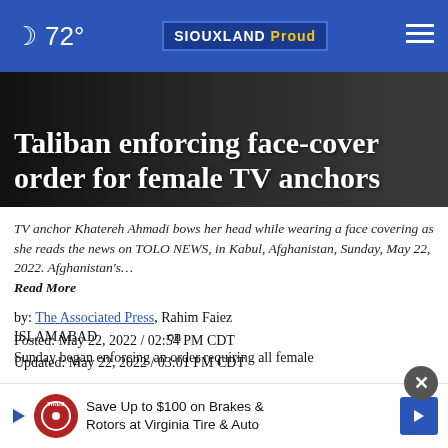🌙 72° | SIOUXLAND Proud | ≡
Taliban enforcing face-cover order for female TV anchors
TV anchor Khatereh Ahmadi bows her head while wearing a face covering as she reads the news on TOLO NEWS, in Kabul, Afghanistan, Sunday, May 22, 2022. Afghanistan's… Read More
by: The Associated Press, Rahim Faiez
Posted: May 22, 2022 / 02:54 PM CDT
Updated: May 22, 2022 / 03:01 PM CDT
SHARE
[Figure (other): Advertisement banner: Save Up to $100 on Brakes & Rotors at Virginia Tire & Auto]
ISLAMABAD... on Sunday began enforcing an order requiring all female